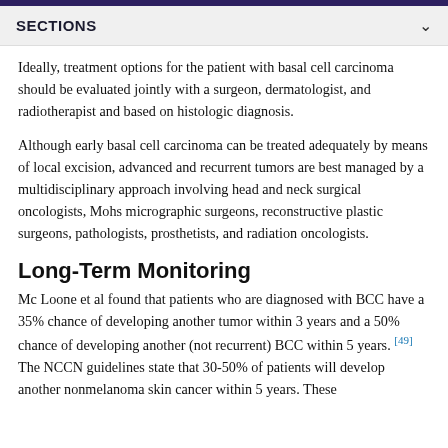SECTIONS
Ideally, treatment options for the patient with basal cell carcinoma should be evaluated jointly with a surgeon, dermatologist, and radiotherapist and based on histologic diagnosis.
Although early basal cell carcinoma can be treated adequately by means of local excision, advanced and recurrent tumors are best managed by a multidisciplinary approach involving head and neck surgical oncologists, Mohs micrographic surgeons, reconstructive plastic surgeons, pathologists, prosthetists, and radiation oncologists.
Long-Term Monitoring
Mc Loone et al found that patients who are diagnosed with BCC have a 35% chance of developing another tumor within 3 years and a 50% chance of developing another (not recurrent) BCC within 5 years. [49] The NCCN guidelines state that 30-50% of patients will develop another nonmelanoma skin cancer within 5 years. These